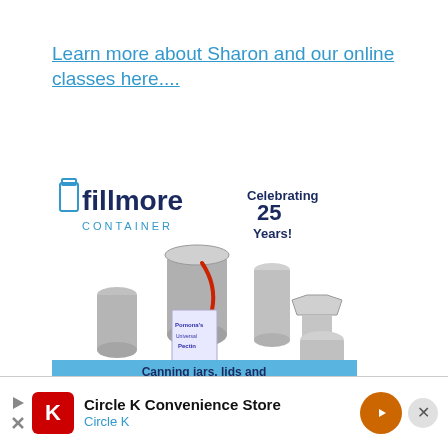Learn more about Sharon and our online classes here....
[Figure (illustration): Fillmore Container advertisement showing canning jars, lids and preserving supplies with text 'Celebrating 25 Years!' and a blue banner at bottom reading 'Canning jars, lids and preserving supplies.']
[Figure (illustration): Circle K Convenience Store advertisement banner with Circle K logo, play button, navigation arrow icon, and close button]